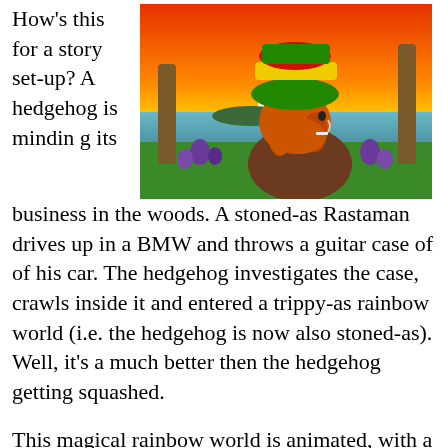How's this for a story set-up? A hedgehog is minding its business in the woods. A stoned-as Rastaman drives up in a BMW and throws a guitar case of of his car. The hedgehog investigates the case, crawls inside it and entered a trippy-as rainbow world (i.e. the hedgehog is now also stoned-as). Well, it's a much better then the hedgehog getting squashed.
[Figure (illustration): Animated 3D illustration of a Rastaman character with a rainbow-colored hat (green, yellow, red) and orange dreadlocks, viewed from behind, sitting on a tropical beach scene with a sunset sky (orange, yellow, red), palm trees, purple flowers, green grass, and a body of water in the background.]
This magical rainbow world is animated, with a sandy beach, Rangitoto across the water, some singing palm trees and flowers, as well as a cheerful